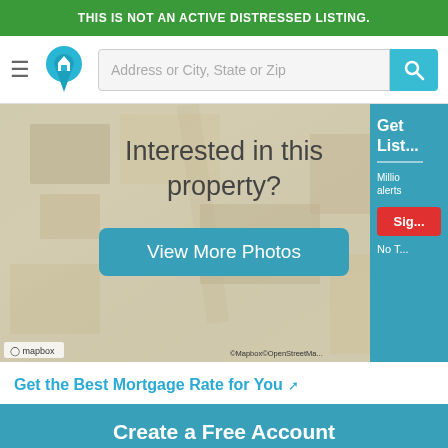THIS IS NOT AN ACTIVE DISTRESSED LISTING.
[Figure (screenshot): Website navigation bar with hamburger menu, home icon logo, address search field reading 'Address or City, State or Zip', and teal search button with magnifying glass icon]
[Figure (screenshot): Aerial map view of a property overlaid with 'Interested in this property?' text and a teal 'View More Photos' button. Mapbox watermark bottom left, OpenStreetMap attribution bottom right.]
Get the Best Mortgage Rate for You ↗
Create a Free Account
First Name   Last Name